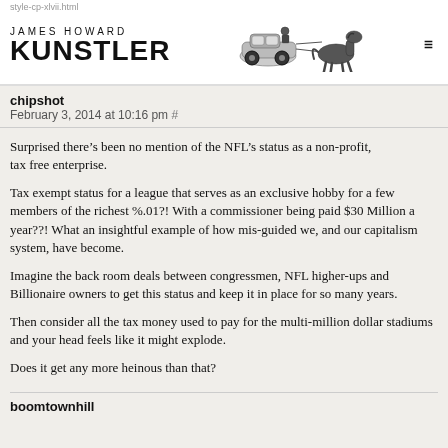style-cp-xlvii.html
JAMES HOWARD KUNSTLER
chipshot
February 3, 2014 at 10:16 pm #
Surprised there’s been no mention of the NFL’s status as a non-profit,
tax free enterprise.
Tax exempt status for a league that serves as an exclusive hobby for a few members of the richest %.01?! With a commissioner being paid $30 Million a year??! What an insightful example of how mis-guided we, and our capitalism system, have become.
Imagine the back room deals between congressmen, NFL higher-ups and Billionaire owners to get this status and keep it in place for so many years.
Then consider all the tax money used to pay for the multi-million dollar stadiums and your head feels like it might explode.
Does it get any more heinous than that?
boomtownhill